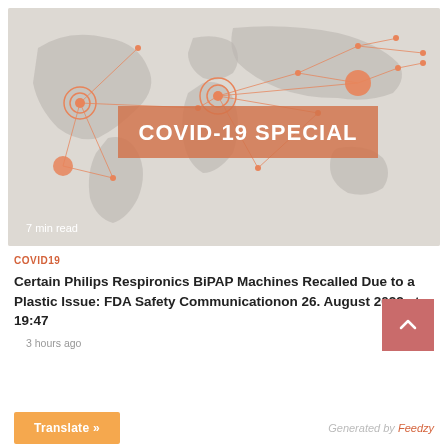[Figure (illustration): COVID-19 Special banner image showing a world map with network lines and circular target markers in orange, with a large banner reading COVID-19 SPECIAL and a 7 min read label]
COVID19
Certain Philips Respironics BiPAP Machines Recalled Due to a Plastic Issue: FDA Safety Communicationon 26. August 2022 at 19:47
3 hours ago
Translate »
Generated by Feedzy